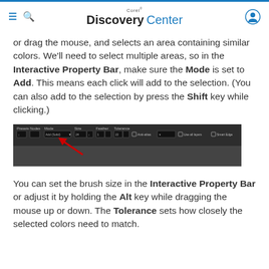Corel Discovery Center
or drag the mouse, and selects an area containing similar colors. We'll need to select multiple areas, so in the Interactive Property Bar, make sure the Mode is set to Add. This means each click will add to the selection. (You can also add to the selection by press the Shift key while clicking.)
[Figure (screenshot): Screenshot of the Interactive Property Bar in Corel software showing toolbar options including Presets, Nodes, Mode (set to Add (Solid)), Size, Feather, Tolerance, Anti-alias, Use All layers, Smart Edge options, with a red arrow pointing to the Mode dropdown]
You can set the brush size in the Interactive Property Bar or adjust it by holding the Alt key while dragging the mouse up or down. The Tolerance sets how closely the selected colors need to match.